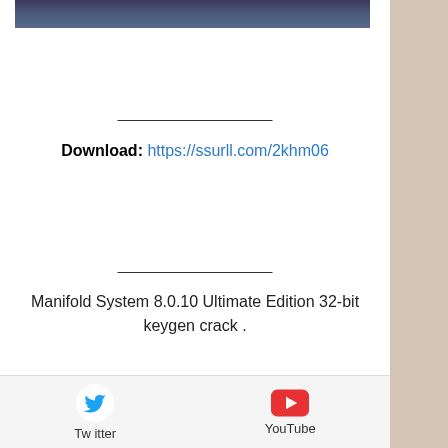[Figure (photo): Blurred dark image at top of page]
Download: https://ssurll.com/2khm06
Manifold System 8.0.10 Ultimate Edition 32-bit keygen crack .
To purchase, check out the solutions menu, and then click the SHOP button on the lower...
[Figure (logo): Twitter and YouTube social media icons with labels]